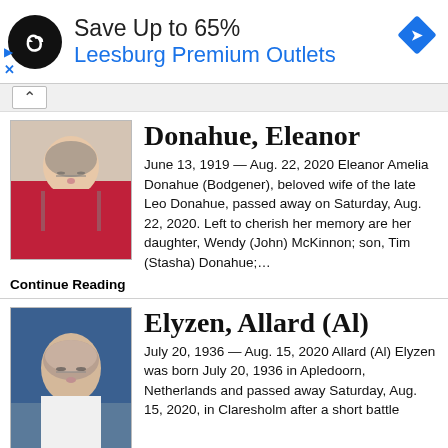[Figure (other): Advertisement banner: Save Up to 65% Leesburg Premium Outlets with loop logo and navigation arrow]
Donahue, Eleanor
June 13, 1919 — Aug. 22, 2020 Eleanor Amelia Donahue (Bodgener), beloved wife of the late Leo Donahue, passed away on Saturday, Aug. 22, 2020. Left to cherish her memory are her daughter, Wendy (John) McKinnon; son, Tim (Stasha) Donahue;…
Continue Reading
Elyzen, Allard (Al)
July 20, 1936 — Aug. 15, 2020 Allard (Al) Elyzen was born July 20, 1936 in Apledoorn, Netherlands and passed away Saturday, Aug. 15, 2020, in Claresholm after a short battle with cancer. Al was a devoted husband, proud father. Continue